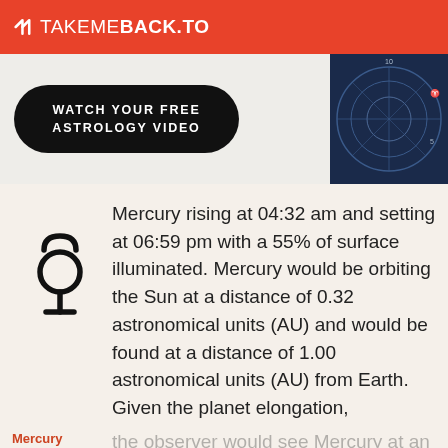TAKEMEBACK.TO
[Figure (screenshot): Black pill-shaped button with text 'WATCH YOUR FREE ASTROLOGY VIDEO' and partial astrology chart wheel image on the right]
Mercury rising at 04:32 am and setting at 06:59 pm with a 55% of surface illuminated. Mercury would be orbiting the Sun at a distance of 0.32 astronomical units (AU) and would be found at a distance of 1.00 astronomical units (AU) from Earth. Given the planet elongation,
Mercury    the observer would see Mercury at an angle of -18° 17' 05.8" with the